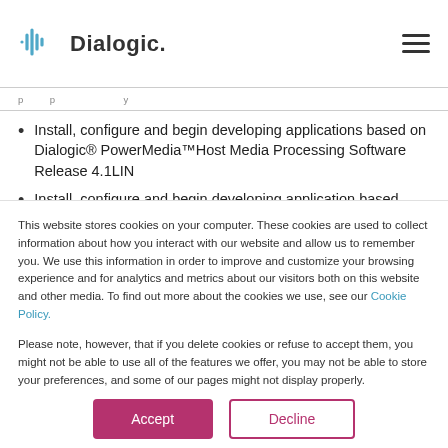Dialogic
p  p  y
Install, configure and begin developing applications based on Dialogic® PowerMedia™Host Media Processing Software Release 4.1LIN
Install, configure and begin developing application based
This website stores cookies on your computer. These cookies are used to collect information about how you interact with our website and allow us to remember you. We use this information in order to improve and customize your browsing experience and for analytics and metrics about our visitors both on this website and other media. To find out more about the cookies we use, see our Cookie Policy.

Please note, however, that if you delete cookies or refuse to accept them, you might not be able to use all of the features we offer, you may not be able to store your preferences, and some of our pages might not display properly.